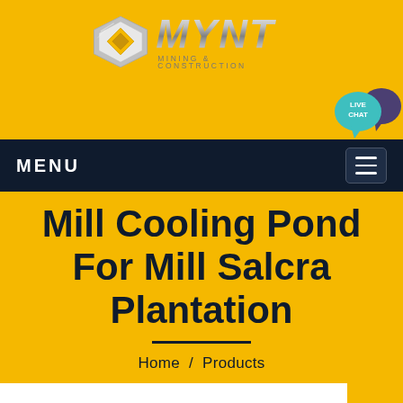[Figure (logo): MYNT Mining & Construction logo with silver geometric hexagon shape and metallic italic text]
[Figure (other): Live Chat teal speech bubble icon with LIVE CHAT text and purple chat bubble]
MENU
Mill Cooling Pond For Mill Salcra Plantation
Home  /  Products